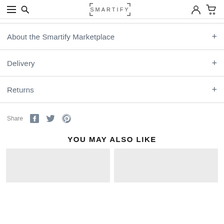SMARTIFY
About the Smartify Marketplace
Delivery
Returns
Share
YOU MAY ALSO LIKE
[Figure (other): Two gray product card placeholders shown at the bottom of the page]